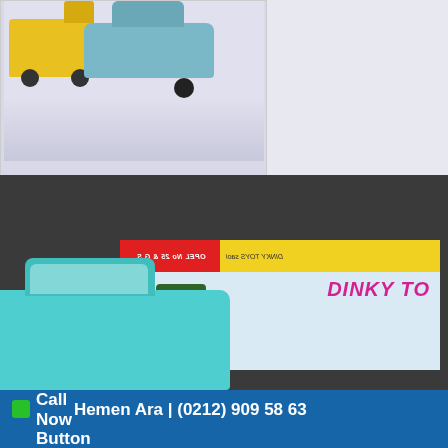[Figure (photo): Photo of a yellow toy truck and light blue toy car on a pale gray/purple background]
[Figure (photo): Close-up photo of a Dinky Toys box with cyan toy car in foreground on dark background. The box shows 'DINKY TOYS' branding and a green car illustration on the box artwork.]
Call Now Hemen Ara | (0212) 909 58 63 Button